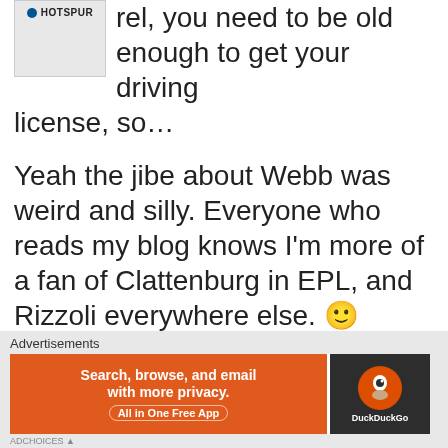[Figure (logo): Tottenham Hotspur logo/badge on white background, partially shown]
rel, you need to be old enough to get your driving license, so…
Yeah the jibe about Webb was weird and silly. Everyone who reads my blog knows I'm more of a fan of Clattenburg in EPL, and Rizzoli everywhere else. 🙂
★ Like
Reply
[Figure (infographic): DuckDuckGo advertisement banner: orange left side with text 'Search, browse, and email with more privacy. All in One Free App', dark right side with DuckDuckGo circular logo and text 'DuckDuckGo']
Advertisements